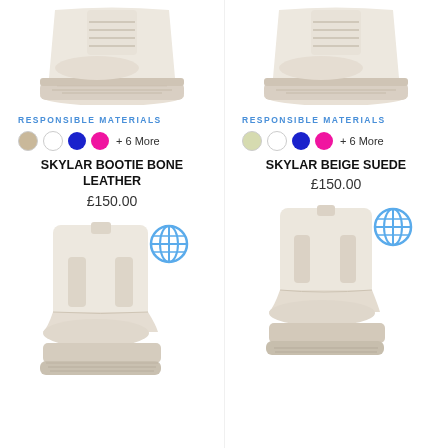[Figure (photo): Top view of Skylar Bootie Bone Leather lace-up platform boot, cream/off-white color, cropped showing sole and upper]
[Figure (photo): Top view of Skylar Beige Suede lace-up platform boot, cream/beige color, cropped showing sole and upper]
RESPONSIBLE MATERIALS
RESPONSIBLE MATERIALS
Color swatches: tan, white, cobalt blue, hot pink + 6 More
Color swatches: light olive, white, cobalt blue, hot pink + 6 More
SKYLAR BOOTIE BONE LEATHER
£150.00
SKYLAR BEIGE SUEDE
£150.00
[Figure (photo): Knee-high cream/off-white Chelsea platform boot with chunky sole, globe/responsible materials icon in top-right corner]
[Figure (photo): Knee-high cream/off-white Chelsea platform boot with chunky sole, globe/responsible materials icon in top-right corner]